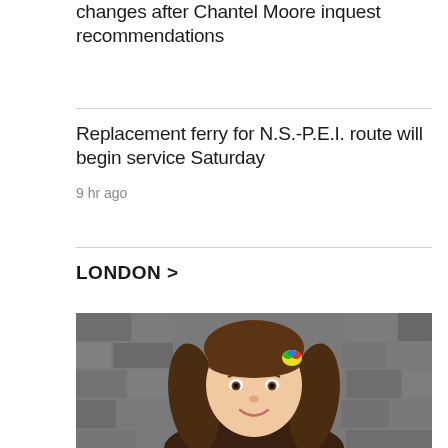changes after Chantel Moore inquest recommendations
Replacement ferry for N.S.-P.E.I. route will begin service Saturday
9 hr ago
LONDON >
[Figure (photo): Young girl with long brown hair and a small colorful hair clip, smiling, standing in front of a stone/brick wall background]